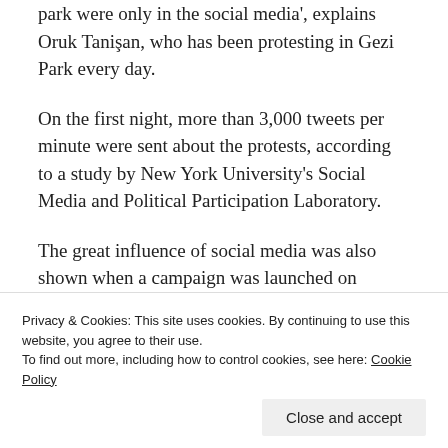park were only in the social media', explains Oruk Tanişan, who has been protesting in Gezi Park every day.
On the first night, more than 3,000 tweets per minute were sent about the protests, according to a study by New York University's Social Media and Political Participation Laboratory.
The great influence of social media was also shown when a campaign was launched on Twitter to raise money for a full-page ad to call for support in The New York Times. More than $50,000 was collected in 21
Privacy & Cookies: This site uses cookies. By continuing to use this website, you agree to their use. To find out more, including how to control cookies, see here: Cookie Policy
Close and accept